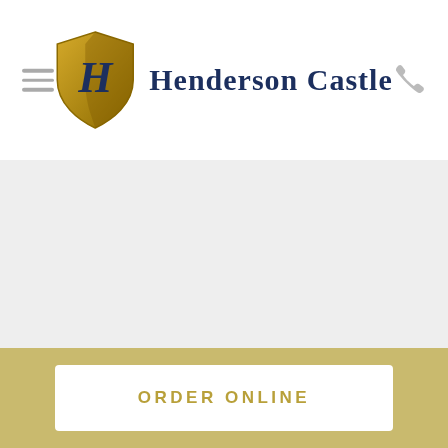[Figure (logo): Henderson Castle logo: a gold and brown shield with stylized H, next to the text 'Henderson Castle' in dark navy old-English serif font]
[Figure (other): Light grey content area placeholder below the header]
ORDER ONLINE